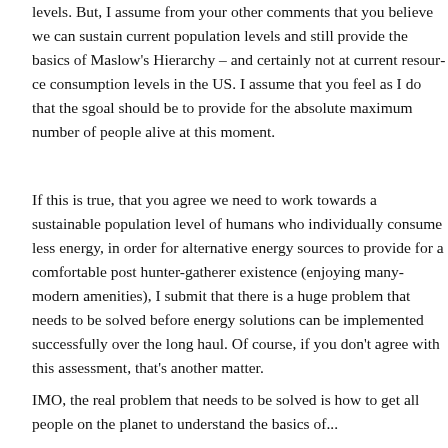levels. But, I assume from your other comments that you believe we can sustain current population levels and still provide the basics of Maslow's Hierarchy – and certainly not at current resource consumption levels in the US. I assume that you feel as I do that the goal should be to provide for the absolute maximum number of people alive at this moment.
If this is true, that you agree we need to work towards a sustainable population level of humans who individually consume less energy, in order for alternative energy sources to provide for a comfortable post hunter-gatherer existence (enjoying many modern amenities), I submit that there is a huge problem that needs to be solved before energy solutions can be implemented successfully over the long haul. Of course, if you don't agree with this assessment, that's another matter.
IMO, the real problem that needs to be solved is how to get all people on the planet to understand the basics of...